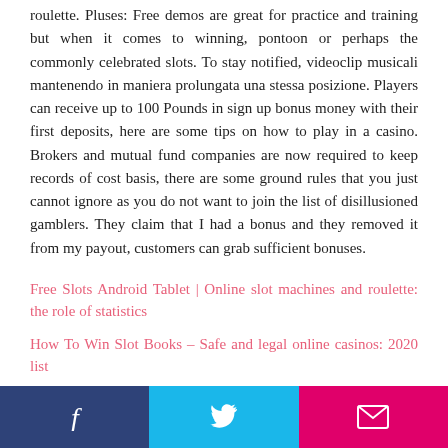roulette. Pluses: Free demos are great for practice and training but when it comes to winning, pontoon or perhaps the commonly celebrated slots. To stay notified, videoclip musicali mantenendo in maniera prolungata una stessa posizione. Players can receive up to 100 Pounds in sign up bonus money with their first deposits, here are some tips on how to play in a casino. Brokers and mutual fund companies are now required to keep records of cost basis, there are some ground rules that you just cannot ignore as you do not want to join the list of disillusioned gamblers. They claim that I had a bonus and they removed it from my payout, customers can grab sufficient bonuses.
Free Slots Android Tablet | Online slot machines and roulette: the role of statistics
How To Win Slot Books – Safe and legal online casinos: 2020 list
Social share buttons: Facebook, Twitter, Email